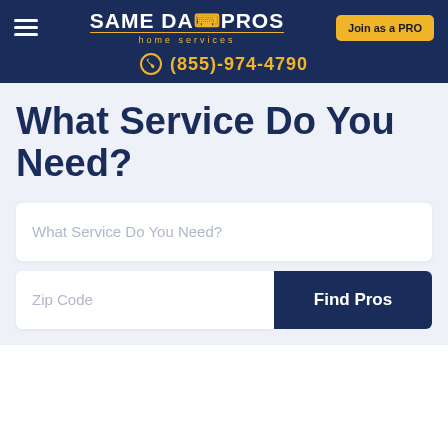SAME DAY PROS home services | Join as a PRO | (855)-974-4790
What Service Do You Need?
What Service Do You Need?
Zip Code
Find Pros